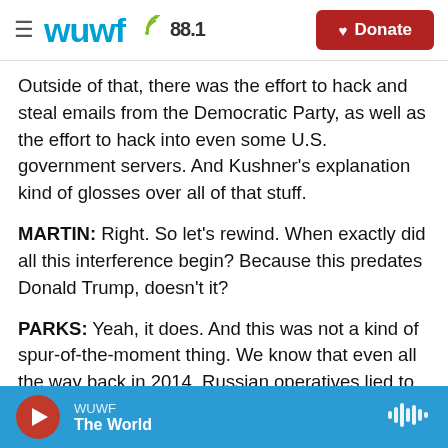WUWF 88.1 — Donate
Outside of that, there was the effort to hack and steal emails from the Democratic Party, as well as the effort to hack into even some U.S. government servers. And Kushner's explanation kind of glosses over all of that stuff.
MARTIN: Right. So let's rewind. When exactly did all this interference begin? Because this predates Donald Trump, doesn't it?
PARKS: Yeah, it does. And this was not a kind of spur-of-the-moment thing. We know that even all the way back in 2014, Russian operatives lied to the
WUWF — The World